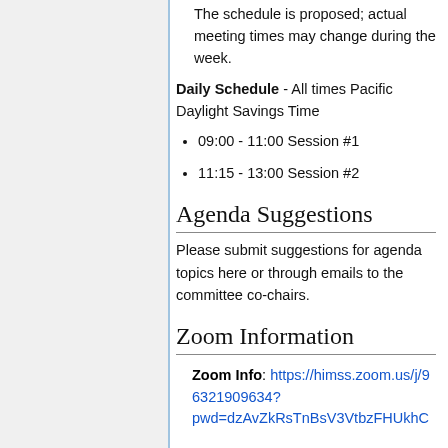The schedule is proposed; actual meeting times may change during the week.
Daily Schedule - All times Pacific Daylight Savings Time
09:00 - 11:00 Session #1
11:15 - 13:00 Session #2
Agenda Suggestions
Please submit suggestions for agenda topics here or through emails to the committee co-chairs.
Zoom Information
Zoom Info: https://himss.zoom.us/j/96321909634?pwd=dzAvZkRsTnBsV3VtbzFHUkhC